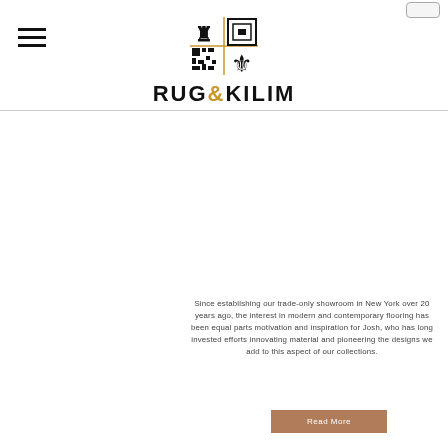RUG & KILIM
[Figure (logo): Rug & Kilim logo with four-quadrant symbol (lion, geometric square, QR-style pattern, fleur-de-lis) and brand name RUG & KILIM in bold]
Since establishing our trade-only showroom in New York over 20 years ago, the interest in modern and contemporary flooring has been equal parts motivation and inspiration for Josh, who has long invested efforts innovating material and pioneering the designs we add to this aspect of our collections.